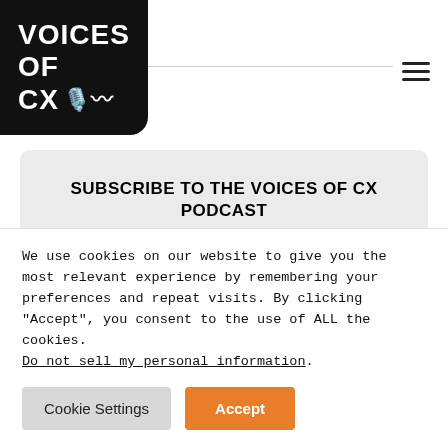[Figure (logo): Voices of CX podcast logo — black rounded rectangle with white bold text reading VOICES OF CX with microphone and headphone icons]
SUBSCRIBE TO THE VOICES OF CX PODCAST
Join our email list to be notified when new episodes air, and get them a day early!
We use cookies on our website to give you the most relevant experience by remembering your preferences and repeat visits. By clicking “Accept”, you consent to the use of ALL the cookies. Do not sell my personal information.